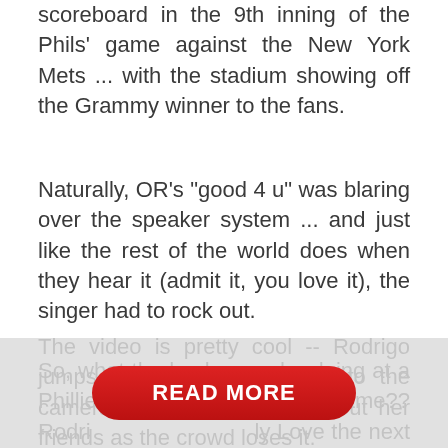scoreboard in the 9th inning of the Phils' game against the New York Mets ... with the stadium showing off the Grammy winner to the fans.
Naturally, OR's "good 4 u" was blaring over the speaker system ... and just like the rest of the world does when they hear it (admit it, you love it), the singer had to rock out.
The video is pretty cool -- Rodrigo jumps up and down, waves to the cameras, dances and points out her friends as the crowd loses it.
So, what the heck was she doing at a Phillies game?? Rodri                                             ly Love the next two nights for her "SOUR" tour ... so why not
[Figure (other): Red rounded READ MORE button overlay on grey semi-transparent background]